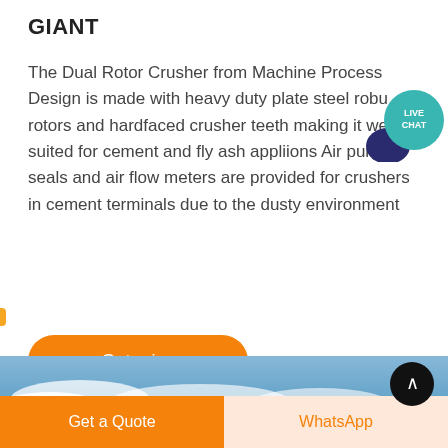GIANT
The Dual Rotor Crusher from Machine Process Design is made with heavy duty plate steel robust rotors and hardfaced crusher teeth making it well suited for cement and fly ash appliions Air purge seals and air flow meters are provided for crushers in cement terminals due to the dusty environment
[Figure (other): Live Chat bubble icon — teal circle with 'LIVE CHAT' text and speech bubble tail, positioned top-right overlay]
[Figure (other): Orange pill-shaped 'Get price' button]
[Figure (photo): Banner image of blue sky with white clouds, with a dark circular scroll-to-top arrow button on the right]
[Figure (other): Bottom bar with two buttons: orange 'Get a Quote' button on the left and light peach 'WhatsApp' button in orange text on the right]